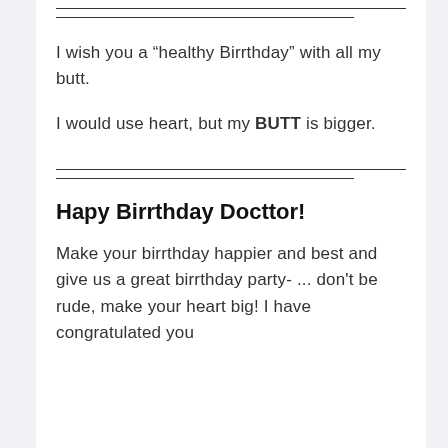I wish you a “healthy Birrthday” with all my butt.
I would use heart, but my BUTT is bigger.
Hapy Birrthday Docttor!
Make your birrthday happier and best and give us a great birrthday party- … don’t be rude, make your heart big! I have congratulated you